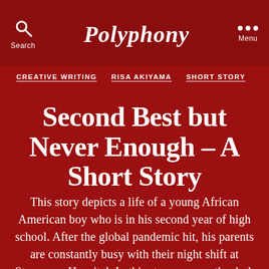Polyphony — Search | Menu
CREATIVE WRITING  RISA AKIYAMA  SHORT STORY
Second Best but Never Enough – A Short Story
This story depicts a life of a young African American boy who is in his second year of high school. After the global pandemic hit, his parents are constantly busy with their night shift at Stevenson Hospital. In this story, we see the dark reality of social inequality in today's world and how the spread of Covid-19 makes this disaster